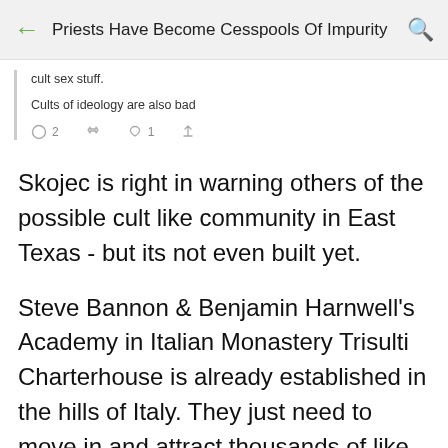Priests Have Become Cesspools Of Impurity
cult sex stuff.
Cults of ideology are also bad
Skojec is right in warning others of the possible cult like community in East Texas - but its not even built yet.
Steve Bannon & Benjamin Harnwell's Academy in Italian Monastery Trisulti Charterhouse is already established in the hills of Italy. They just need to move in and attract thousands of like minded Rad